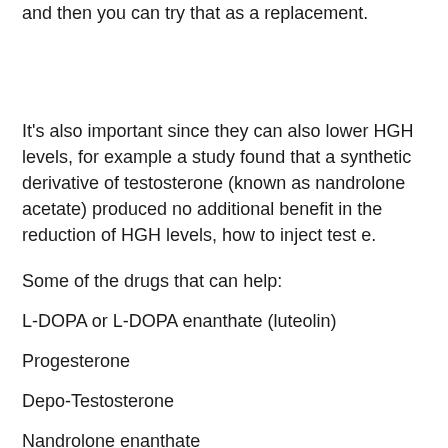and then you can try that as a replacement.
It's also important since they can also lower HGH levels, for example a study found that a synthetic derivative of testosterone (known as nandrolone acetate) produced no additional benefit in the reduction of HGH levels, how to inject test e.
Some of the drugs that can help:
L-DOPA or L-DOPA enanthate (luteolin)
Progesterone
Depo-Testosterone
Nandrolone enanthate